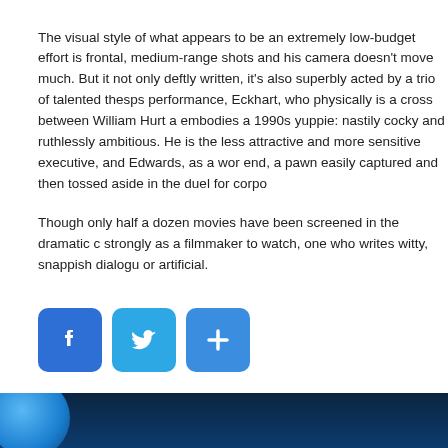The visual style of what appears to be an extremely low-budget effort is frontal, medium-range shots and his camera doesn't move much. But it not only deftly written, it's also superbly acted by a trio of talented thesps performance, Eckhart, who physically is a cross between William Hurt a embodies a 1990s yuppie: nastily cocky and ruthlessly ambitious. He is the less attractive and more sensitive executive, and Edwards, as a wor end, a pawn easily captured and then tossed aside in the duel for corpo
Though only half a dozen movies have been screened in the dramatic c strongly as a filmmaker to watch, one who writes witty, snappish dialogu or artificial.
[Figure (infographic): Three social media sharing buttons: Facebook (blue with F icon), Twitter (light blue with bird icon), and a plus/share button (blue with + icon)]
Filed Under: REVIEWS